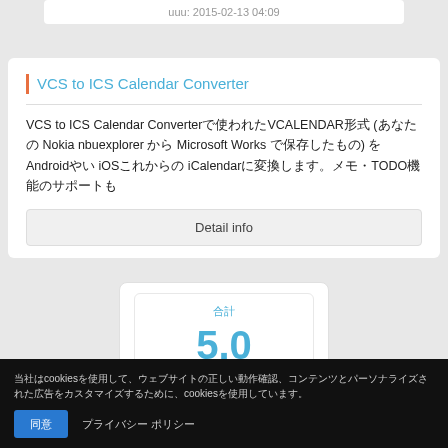uuu: 2015-02-13 04:09
VCS to ICS Calendar Converter
VCS to ICS Calendar Converterで使われたVCALENDAR形式 (Nokia nbuexplorer から Microsoft Works で保存したもの) を Androidやい iOSこれからの iCalendar形式に変換します。メモ・TODO機能のサポートも
Detail info
合計
5.0
1 件のレビュー
当社はcookiesを使用して、ウェブサイトの正しい動作確認、コンテンツとパーソナライズされた広告をカスタマイズするために、cookiesを使用しています。
同意 プライバシー ポリシー